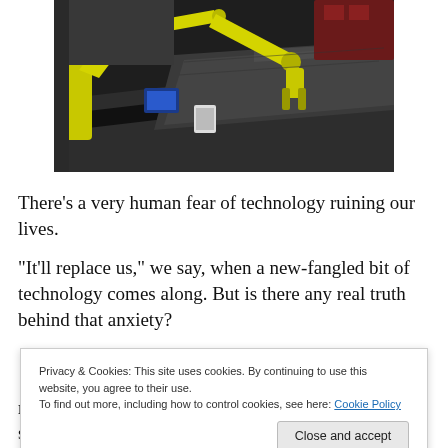[Figure (photo): Industrial yellow robotic arm working on a car assembly line, manipulating a dark car body panel in a factory setting.]
There's a very human fear of technology ruining our lives.
“It’ll replace us,” we say, when a new-fangled bit of technology comes along. But is there any real truth behind that anxiety?
Privacy & Cookies: This site uses cookies. By continuing to use this website, you agree to their use.
To find out more, including how to control cookies, see here: Cookie Policy
report, commenting – with furrowed brows – how, shock